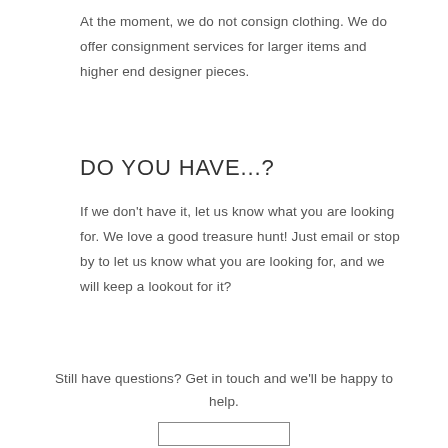At the moment, we do not consign clothing. We do offer consignment services for larger items and higher end designer pieces.
DO YOU HAVE...?
If we don't have it, let us know what you are looking for. We love a good treasure hunt! Just email or stop by to let us know what you are looking for, and we will keep a lookout for it?
Still have questions? Get in touch and we'll be happy to help.